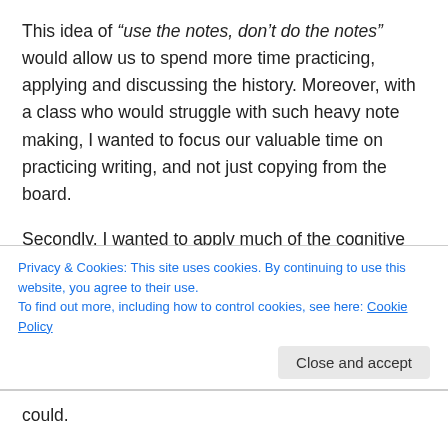This idea of “use the notes, don’t do the notes” would allow us to spend more time practicing, applying and discussing the history. Moreover, with a class who would struggle with such heavy note making, I wanted to focus our valuable time on practicing writing, and not just copying from the board.
Secondly, I wanted to apply much of the cognitive science principles and evidence based practice that I have learnt over the last few years. I’m very lucky to work at a Research School and I wanted to ensure we are maximising all that have learnt about evidence based practice that helps students, including cognitive load theory, retrieval practice, interleaving, spaced
Privacy & Cookies: This site uses cookies. By continuing to use this website, you agree to their use.
To find out more, including how to control cookies, see here: Cookie Policy
could.